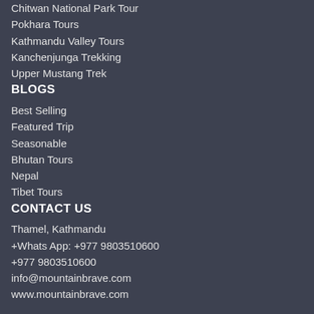Chitwan National Park Tour
Pokhara Tours
Kathmandu Valley Tours
Kanchenjunga Trekking
Upper Mustang Trek
BLOGS
Best Selling
Featured Trip
Seasonable
Bhutan Tours
Nepal
Tibet Tours
CONTACT US
Thamel, Kathmandu
+Whats App: +977 9803510600
+977 9803510600
info@mountainbrave.com
www.mountainbrave.com